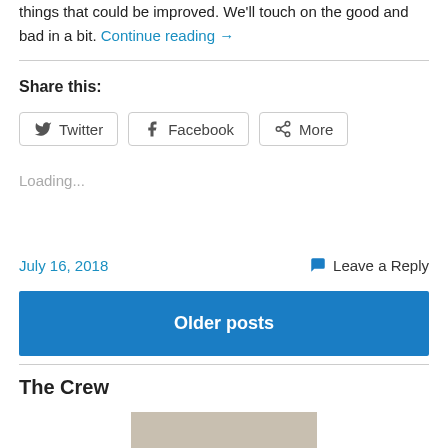things that could be improved. We'll touch on the good and bad in a bit. Continue reading →
Share this:
Twitter   Facebook   More
Loading...
July 16, 2018   Leave a Reply
Older posts
The Crew
[Figure (photo): Crew image placeholder]